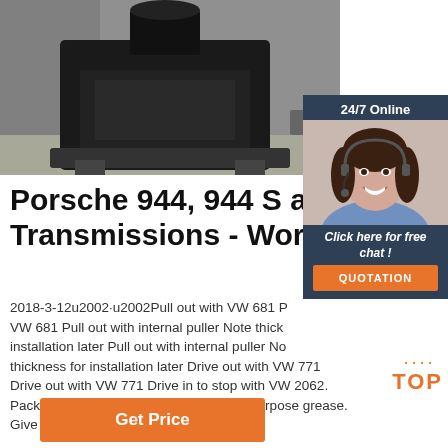[Figure (photo): Black automotive transmission/gearbox component on a workshop floor, possibly a Porsche 944 transmission]
[Figure (photo): 24/7 Online chat support widget with a female agent wearing a headset, smiling, with orange QUOTATION button]
Porsche 944, 944 S and 944 Transmissions - Workshop
2018-3-12u2002·u2002Pull out with VW 681 Pull out with VW 681 Pull out with internal puller Note thickness for installation later Pull out with internal puller Note thickness for installation later Drive out with VW 771 Drive out with VW 771 Drive in to stop with VW 2062. Pack space betw. sealing lips with multi-purpose grease. Give sealing lip a light coat of oil ...
[Figure (other): TOP navigation button with orange dots and text]
Get Price